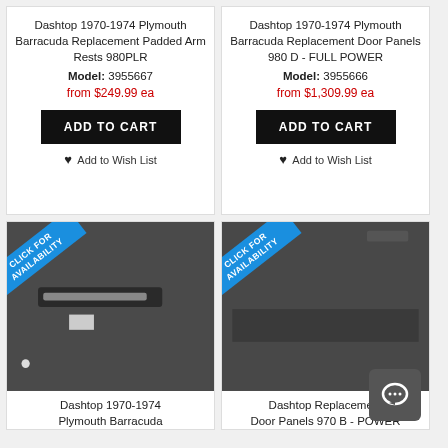Dashtop 1970-1974 Plymouth Barracuda Replacement Padded Arm Rests 980PLR
Model: 3955667
from $249.99 ea
ADD TO CART
Add to Wish List
Dashtop 1970-1974 Plymouth Barracuda Replacement Door Panels 980 D - FULL POWER
Model: 3955666
from $1,309.99 ea
ADD TO CART
Add to Wish List
[Figure (photo): Dark door panel with CLICK FOR AVAILABILITY badge]
Dashtop 1970-1974 Plymouth Barracuda
[Figure (photo): Dark door panel with CLICK FOR AVAILABILITY badge]
Dashtop Replacement Door Panels 970 B - POWER